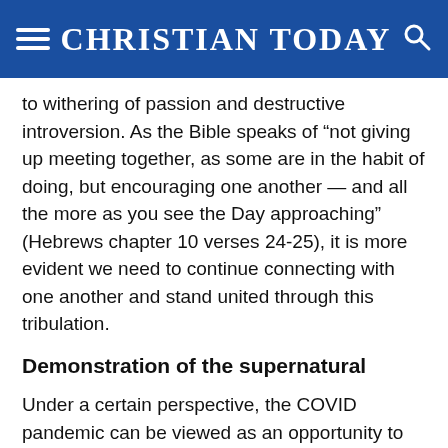CHRISTIAN TODAY
to withering of passion and destructive introversion. As the Bible speaks of “not giving up meeting together, as some are in the habit of doing, but encouraging one another — and all the more as you see the Day approaching” (Hebrews chapter 10 verses 24-25), it is more evident we need to continue connecting with one another and stand united through this tribulation.
Demonstration of the supernatural
Under a certain perspective, the COVID pandemic can be viewed as an opportunity to further pray for the sick and raise the dead. While this sort of supernatural healing has often been shied away from in our modern world, it is an opportunity now more than ever, to demonstrate our faith